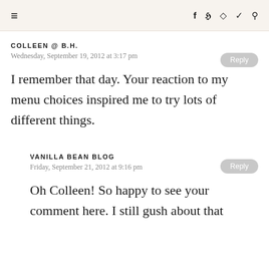≡  f  twitter  instagram  pinterest  search
COLLEEN @ B.H.
Wednesday, September 19, 2012 at 3:17 pm
I remember that day. Your reaction to my menu choices inspired me to try lots of different things.
VANILLA BEAN BLOG
Friday, September 21, 2012 at 9:16 pm
Oh Colleen! So happy to see your comment here. I still gush about that